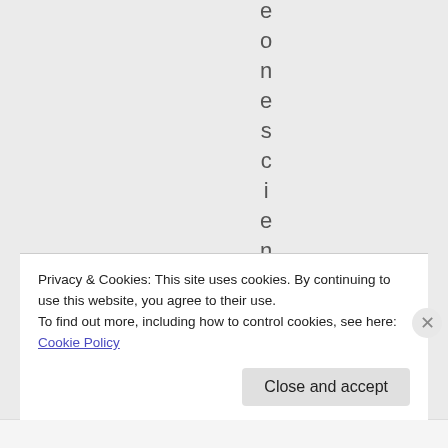e
o
n
e
s
c
i
e
n
t
i
Privacy & Cookies: This site uses cookies. By continuing to use this website, you agree to their use.
To find out more, including how to control cookies, see here: Cookie Policy
Close and accept